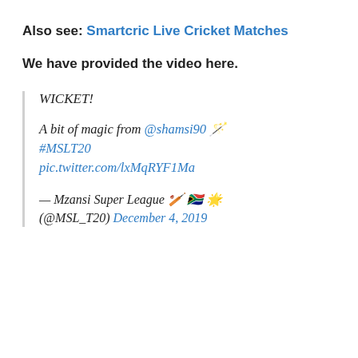Also see: Smartcric Live Cricket Matches
We have provided the video here.
WICKET!
A bit of magic from @shamsi90 🪄 #MSLT20 pic.twitter.com/lxMqRYF1Ma
— Mzansi Super League 🏏 🇿🇦 🌟 (@MSL_T20) December 4, 2019